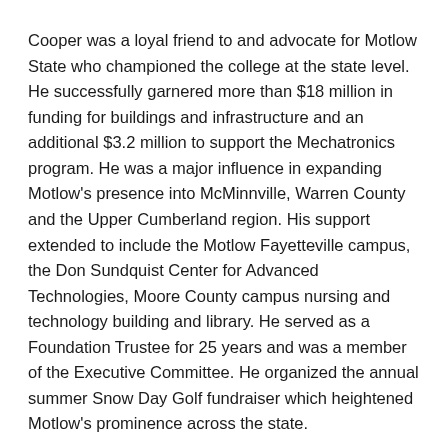Cooper was a loyal friend to and advocate for Motlow State who championed the college at the state level. He successfully garnered more than $18 million in funding for buildings and infrastructure and an additional $3.2 million to support the Mechatronics program. He was a major influence in expanding Motlow's presence into McMinnville, Warren County and the Upper Cumberland region. His support extended to include the Motlow Fayetteville campus, the Don Sundquist Center for Advanced Technologies, Moore County campus nursing and technology building and library. He served as a Foundation Trustee for 25 years and was a member of the Executive Committee. He organized the annual summer Snow Day Golf fundraiser which heightened Motlow's prominence across the state.
“The Cooper Day celebration is fitting and timely, and Motlow